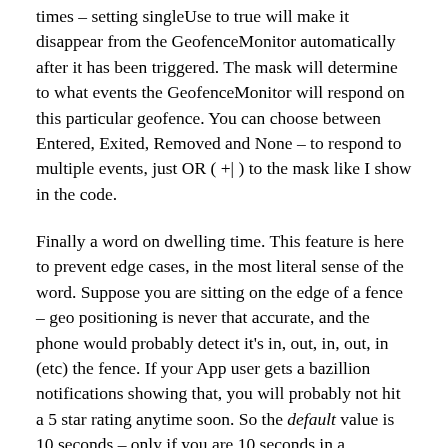times – setting singleUse to true will make it disappear from the GeofenceMonitor automatically after it has been triggered. The mask will determine to what events the GeofenceMonitor will respond on this particular geofence. You can choose between Entered, Exited, Removed and None – to respond to multiple events, just OR ( +| ) to the mask like I show in the code.
Finally a word on dwelling time. This feature is here to prevent edge cases, in the most literal sense of the word. Suppose you are sitting on the edge of a fence – geo positioning is never that accurate, and the phone would probably detect it's in, out, in, out, in (etc) the fence. If your App user gets a bazillion notifications showing that, you will probably not hit a 5 star rating anytime soon. So the default value is 10 seconds – only if you are 10 seconds in a geofence (or left it for 10 seconds) something will happen. For my demos I usually take 1 second because well, audiences tend to get uncomfortable watching a screen where nothing much happens (and the presenter too, for what matters). For production scenario's, take some time to think about the speed your typical user will move with, the size